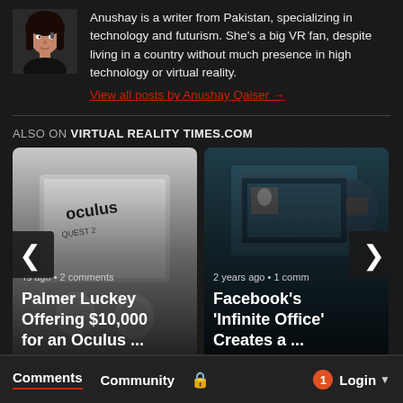[Figure (photo): Author photo of Anushay Qaiser, a woman with dark hair]
Anushay is a writer from Pakistan, specializing in technology and futurism. She's a big VR fan, despite living in a country without much presence in high technology or virtual reality.
View all posts by Anushay Qaiser →
ALSO ON VIRTUAL REALITY TIMES.COM
[Figure (photo): Carousel card 1: Oculus Quest 2 box product photo with text 'Palmer Luckey Offering $10,000 for an Oculus ...' and meta 'rs ago • 2 comments']
[Figure (photo): Carousel card 2: Person using VR headset at computer with text 'Facebook's Infinite Office Creates a ...' and meta '2 years ago • 1 comm']
Comments  Community  🔒  1  Login